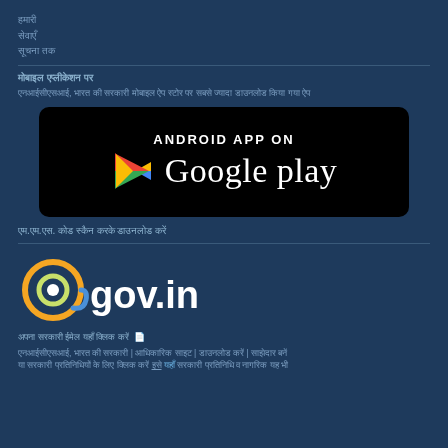हमारी
सेवाएँ
सूचना तक
मोबाइल एप्लीकेशन पर
एनआईसीएसआई, भारत की सरकारी मोबाइल ऐप स्टोर पर सबसे ज्यादा डाउनलोड किया गया ऐप
[Figure (logo): Android App on Google Play badge with Google Play logo including colorful triangle play icon]
एम.एम.एस. कोड स्कैन करके डाउनलोड करें
[Figure (logo): @gov.in logo with colorful circular @ symbol in orange, green, and blue colors on dark blue background]
अपना सरकारी ईमेल यहाँ क्लिक करें  📄
एनआईसीएसआई, भारत की सरकारी | आधिकारिक साइट | डाउनलोड करें | साझेदार बनें
या सरकारी प्रतिनिधियों के लिए क्लिक करें इसे यहाँ सरकारी प्रतिनिधि व नागरिक यह भी